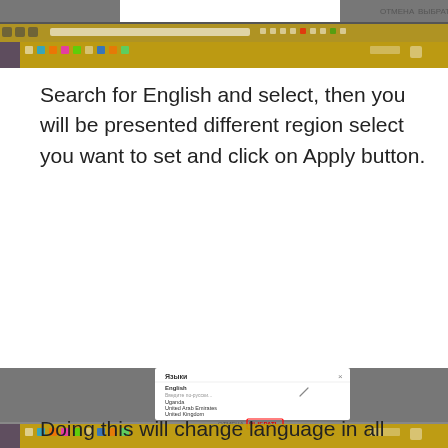[Figure (screenshot): Top portion of a browser screenshot showing a Google Account language dialog with ОТМЕНА and ВЫБРАТЬ buttons and a Windows taskbar]
Search for English and select, then you will be presented different region select you want to set and click on Apply button.
[Figure (screenshot): Browser screenshot of Google Account language settings page showing a 'Языки' (Languages) dialog with English selected and a list of regions including Uganda, United Arab Emirates, United Kingdom, United States (highlighted), Vanuatu, Zambia, Zimbabwe, with ОТМЕНА and ВЫБРАТЬ (highlighted in red border) buttons at the bottom]
Doing this will change language in all Google